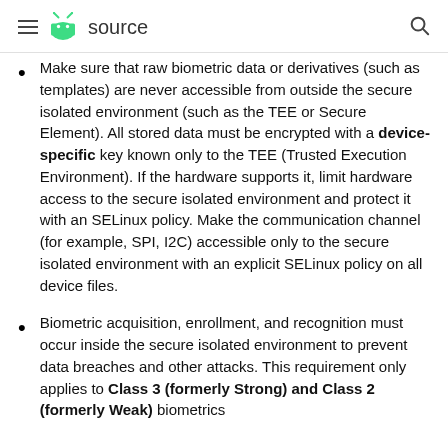≡ source
Make sure that raw biometric data or derivatives (such as templates) are never accessible from outside the secure isolated environment (such as the TEE or Secure Element). All stored data must be encrypted with a device-specific key known only to the TEE (Trusted Execution Environment). If the hardware supports it, limit hardware access to the secure isolated environment and protect it with an SELinux policy. Make the communication channel (for example, SPI, I2C) accessible only to the secure isolated environment with an explicit SELinux policy on all device files.
Biometric acquisition, enrollment, and recognition must occur inside the secure isolated environment to prevent data breaches and other attacks. This requirement only applies to Class 3 (formerly Strong) and Class 2 (formerly Weak) biometrics